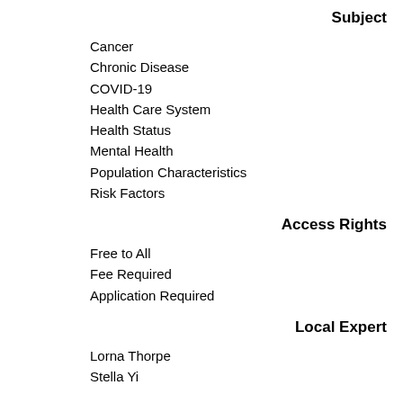Subject
Cancer
Chronic Disease
COVID-19
Health Care System
Health Status
Mental Health
Population Characteristics
Risk Factors
Access Rights
Free to All
Fee Required
Application Required
Local Expert
Lorna Thorpe
Stella Yi